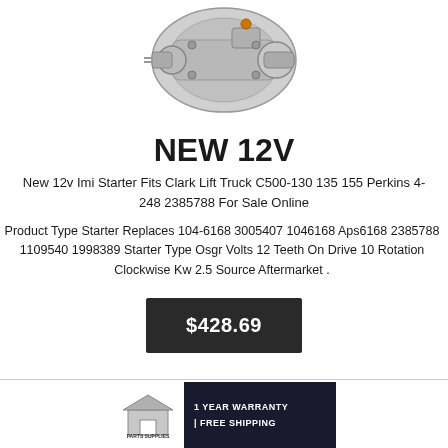[Figure (photo): Photo of a new 12V starter motor, silver/metallic with copper terminal visible, cropped from top]
NEW 12V
New 12v Imi Starter Fits Clark Lift Truck C500-130 135 155 Perkins 4-248 2385788 For Sale Online
Product Type Starter Replaces 104-6168 3005407 1046168 Aps6168 2385788 1109540 1998389 Starter Type Osgr Volts 12 Teeth On Drive 10 Rotation Clockwise Kw 2.5 Source Aftermarket .
$428.69
[Figure (logo): Parts Supplies banner with logo, text: 1 YEAR WARRANTY | FREE SHIPPING]